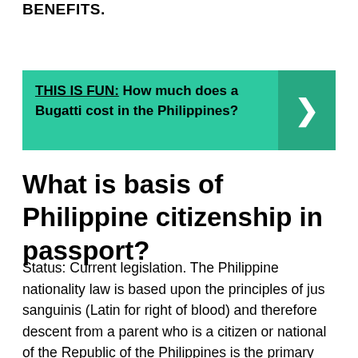ARE ALLOWED SENIOR CITIZEN CARD AND BENEFITS.
[Figure (infographic): Green banner with bold text: 'THIS IS FUN: How much does a Bugatti cost in the Philippines?' with a darker green right-arrow button on the right side.]
What is basis of Philippine citizenship in passport?
Status: Current legislation. The Philippine nationality law is based upon the principles of jus sanguinis (Latin for right of blood) and therefore descent from a parent who is a citizen or national of the Republic of the Philippines is the primary method of acquiring Philippine citizenship.